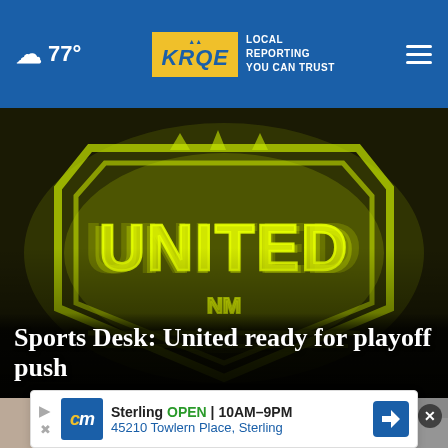☁ 77° | KRQE LOCAL REPORTING YOU CAN TRUST
[Figure (photo): Neon yellow-green UNITED sign (New Mexico United soccer club logo) photographed at night, glowing brightly against a dark background]
Sports Desk: United ready for playoff push
[Figure (photo): Left thumbnail image showing hands, partially visible]
[Figure (photo): Right thumbnail image, partially visible, with close X button overlay]
Sterling OPEN | 10AM–9PM
45210 Towlern Place, Sterling